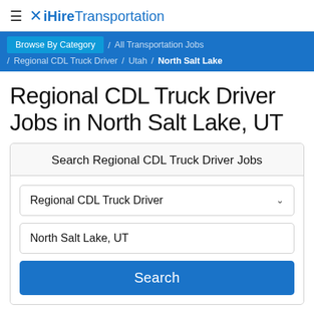≡ ✕ iHireTransportation
Browse By Category / All Transportation Jobs / Regional CDL Truck Driver / Utah / North Salt Lake
Regional CDL Truck Driver Jobs in North Salt Lake, UT
Search Regional CDL Truck Driver Jobs
Regional CDL Truck Driver
North Salt Lake, UT
Search